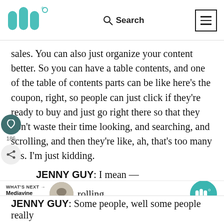Mediavine logo | Search | Menu
sales. You can also just organize your content better. So you can have a table contents, and one of the table of contents parts can be like here's the coupon, right, so people can just click if they're ready to buy and just go right there so that they don't waste their time looking, and searching, and scrolling, and then they're like, ah, that's too many ads. I'm just kidding.
JENNY GUY: I mean —
MELYN FAGAN: But some people really hate scrolling.
JENNY GUY: Some people, well some people really